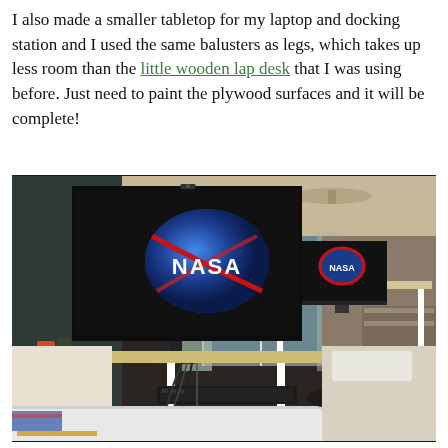I also made a smaller tabletop for my laptop and docking station and I used the same balusters as legs, which takes up less room than the little wooden lap desk that I was using before. Just need to paint the plywood surfaces and it will be complete!
[Figure (photo): A home office setup with a DIY standing desk made from plywood and white baluster legs. Two monitors both displaying the NASA logo are visible — a large monitor in the foreground and a smaller laptop/monitor in the background. A keyboard sits on the lower desk surface. A bed and bedroom furnishings are visible in the background along with a window and ceiling fan.]